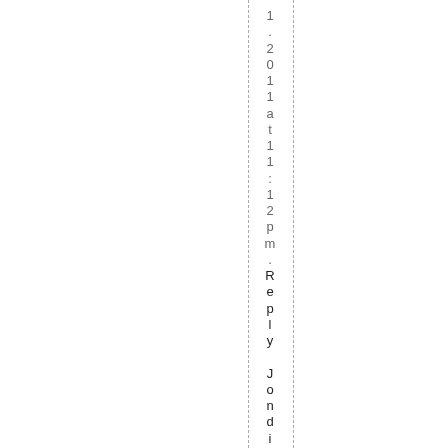1 .2011 at 1 1 :12pm . Reply Jon did mor